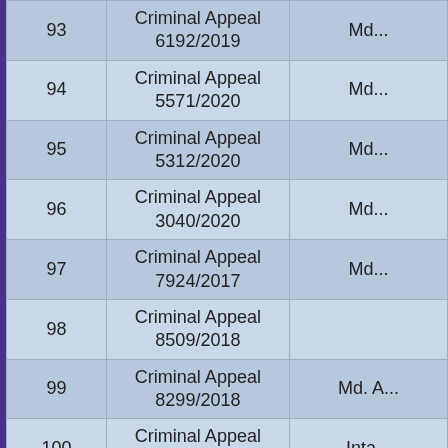| S.No. | Case Type & Number | Petitioner/Respondent |
| --- | --- | --- |
| 93 | Criminal Appeal 6192/2019 | Md... |
| 94 | Criminal Appeal 5571/2020 | Md... |
| 95 | Criminal Appeal 5312/2020 | Md... |
| 96 | Criminal Appeal 3040/2020 | Md... |
| 97 | Criminal Appeal 7924/2017 | Md... |
| 98 | Criminal Appeal 8509/2018 |  |
| 99 | Criminal Appeal 8299/2018 | Md. A... |
| 100 | Criminal Appeal 1186/2021 | Inta... |
| 101 | Criminal Appeal 11630/2017 | Inta... |